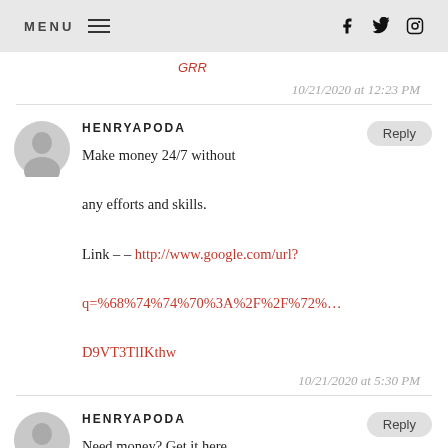MENU  f  twitter  instagram
GRR
10/21/2020 at 12:23 PM
HENRYAPODA
Make money 24/7 without any efforts and skills. Link – – http://www.google.com/url?q=%68%74%74%70%3A%2F%2F%72%...D9VT3TlIKthw
10/21/2020 at 5:30 PM
HENRYAPODA
Need money? Get it here easily?